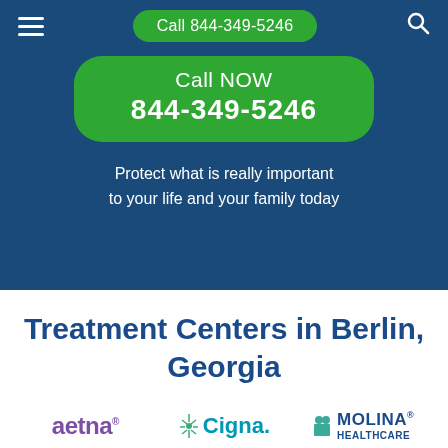Call 844-349-5246
Call NOW
844-349-5246
Protect what is really important to your life and your family today
Treatment Centers in Berlin, Georgia
[Figure (logo): Insurance company logos: aetna, Cigna, Molina Healthcare, BlueCross BlueShield, Humana, WellCare]